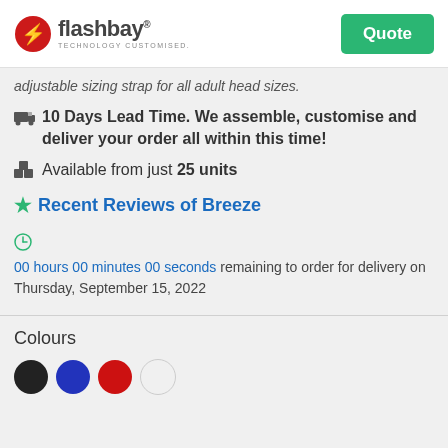Flashbay — Technology Customised. Quote button.
adjustable sizing strap for all adult head sizes.
10 Days Lead Time. We assemble, customise and deliver your order all within this time!
Available from just 25 units
Recent Reviews of Breeze
00 hours 00 minutes 00 seconds remaining to order for delivery on Thursday, September 15, 2022
Colours
[Figure (illustration): Four colour swatches: black, blue, red, white]